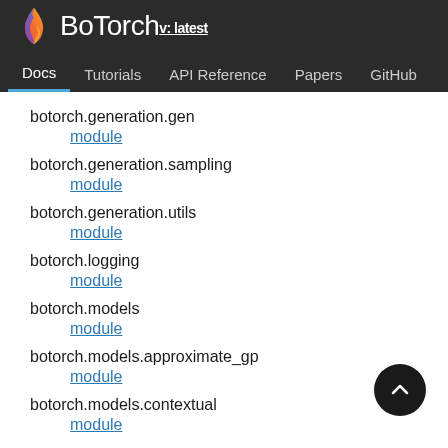BoTorch v: latest — Docs | Tutorials | API Reference | Papers | GitHub
botorch.generation.gen
    module
botorch.generation.sampling
    module
botorch.generation.utils
    module
botorch.logging
    module
botorch.models
    module
botorch.models.approximate_gp
    module
botorch.models.contextual
    module